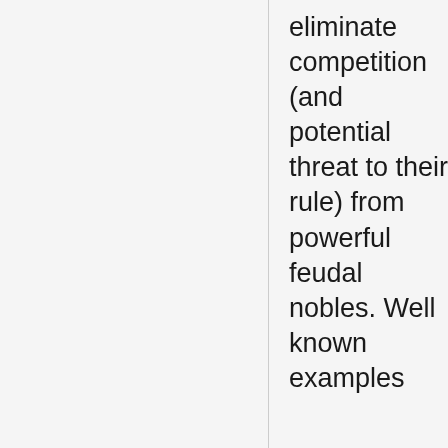eliminate competition (and potential threat to their rule) from powerful feudal nobles. Well known examples